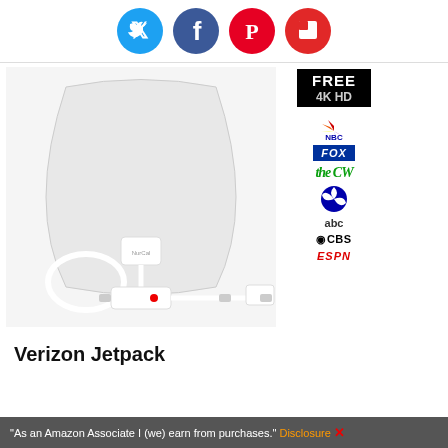[Figure (other): Social media sharing icons: Twitter (blue bird), Facebook (blue f), Pinterest (red P), Flipboard (red F)]
[Figure (photo): A flat white TV antenna with amplifier, coaxial cable, and USB power adapter. Network channel logos shown on right: FREE 4K HD badge, NBC, FOX, CW, PBS, ABC, CBS, ESPN]
Verizon Jetpack
"As an Amazon Associate I (we) earn from purchases." Disclosure X